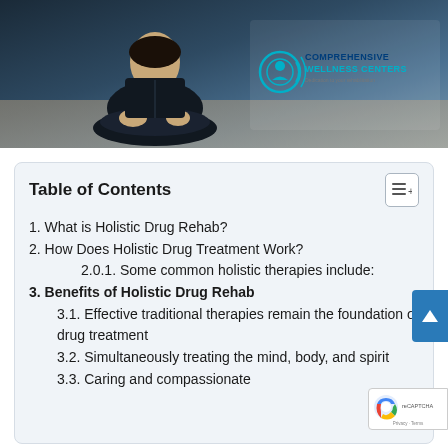[Figure (photo): Person sitting in meditation/lotus position wearing dark clothing, with Comprehensive Wellness Centers logo in top right corner]
Table of Contents
1. What is Holistic Drug Rehab?
2. How Does Holistic Drug Treatment Work?
2.0.1. Some common holistic therapies include:
3. Benefits of Holistic Drug Rehab
3.1. Effective traditional therapies remain the foundation of drug treatment
3.2. Simultaneously treating the mind, body, and spirit
3.3. Caring and compassionate